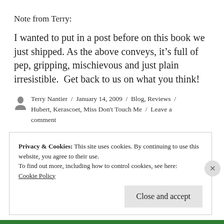Note from Terry:
I wanted to put in a post before on this book we just shipped. As the above conveys, it’s full of pep, gripping, mischievous and just plain irresistible.  Get back to us on what you think!
Terry Nantier / January 14, 2009 / Blog, Reviews / Hubert, Kerascoet, Miss Don't Touch Me / Leave a comment
Privacy & Cookies: This site uses cookies. By continuing to use this website, you agree to their use.
To find out more, including how to control cookies, see here:
Cookie Policy
Close and accept